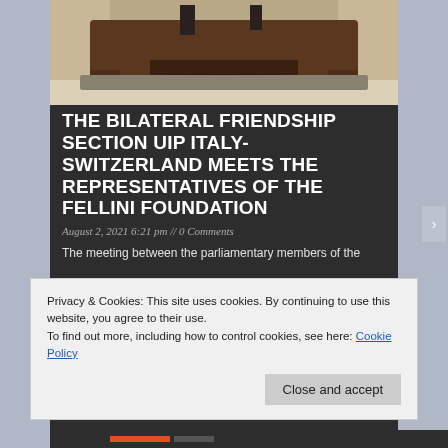[Figure (photo): Top portion of a photograph showing what appears to be ornate wooden furniture (a desk or table) in an interior setting with light-colored flooring.]
THE BILATERAL FRIENDSHIP SECTION UIP ITALY-SWITZERLAND MEETS THE REPRESENTATIVES OF THE FELLINI FOUNDATION
August 2, 2021 6:21 pm // 0 Comments
The meeting between the parliamentary members of the
Privacy & Cookies: This site uses cookies. By continuing to use this website, you agree to their use.
To find out more, including how to control cookies, see here: Cookie Policy
Close and accept